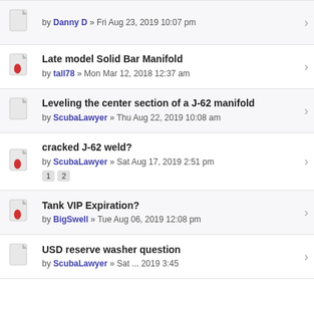by Danny D » Fri Aug 23, 2019 10:07 pm
Late model Solid Bar Manifold
by tall78 » Mon Mar 12, 2018 12:37 am
Leveling the center section of a J-62 manifold
by ScubaLawyer » Thu Aug 22, 2019 10:08 am
cracked J-62 weld?
by ScubaLawyer » Sat Aug 17, 2019 2:51 pm
1 2
Tank VIP Expiration?
by BigSwell » Tue Aug 06, 2019 12:08 pm
USD reserve washer question
by ScubaLawyer » Sat ... 2019 3:45